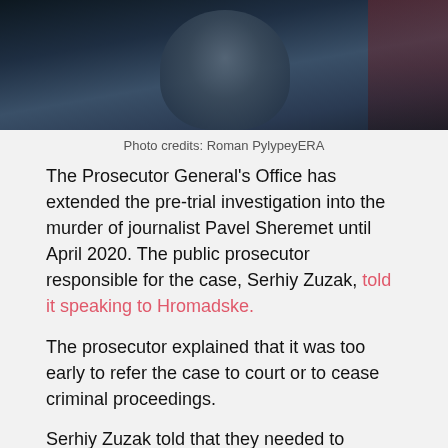[Figure (photo): Dark photograph of a person, cropped at the top of the page]
Photo credits: Roman PylypeyERA
The Prosecutor General's Office has extended the pre-trial investigation into the murder of journalist Pavel Sheremet until April 2020. The public prosecutor responsible for the case, Serhiy Zuzak, told it speaking to Hromadske.
The prosecutor explained that it was too early to refer the case to court or to cease criminal proceedings.
Serhiy Zuzak told that they needed to undertake some extra investigative measures, expert researches and, namely, crime re-enactments and interrogations.
Previously, the investigators had requested to extend the